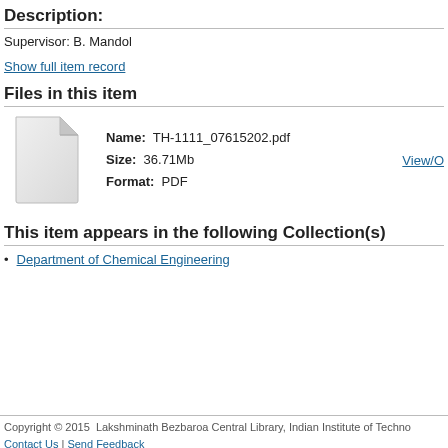Description:
Supervisor: B. Mandol
Show full item record
Files in this item
[Figure (illustration): Generic file/document icon — grey folded-corner paper icon]
Name: TH-1111_07615202.pdf  Size: 36.71Mb  Format: PDF
View/O
This item appears in the following Collection(s)
Department of Chemical Engineering
Copyright © 2015  Lakshminath Bezbaroa Central Library, Indian Institute of Techno
Contact Us | Send Feedback